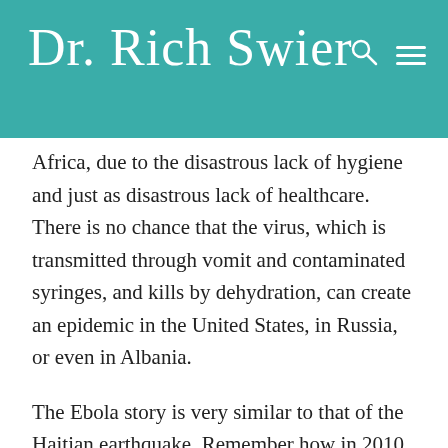Dr. Rich Swier
Africa, due to the disastrous lack of hygiene and just as disastrous lack of healthcare. There is no chance that the virus, which is transmitted through vomit and contaminated syringes, and kills by dehydration, can create an epidemic in the United States, in Russia, or even in Albania.
The Ebola story is very similar to that of the Haitian earthquake. Remember how in 2010, a 7.0 point earthquake killed 220,000 people in Haiti? A few months later, a much stronger, 8.8 point earthquake in Chile killed about 700 people. Keep in mind that each whole-number